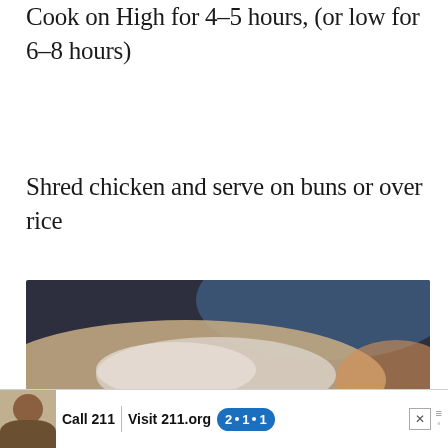Cook on High for 4-5 hours, (or low for 6-8 hours)
Shred chicken and serve on buns or over rice
[Figure (photo): Blurred photo of a person handling food, likely a sandwich or bun, with bokeh background in dark blue and warm tones]
[Figure (other): Advertisement banner: woman on phone, Call 211, Visit 211.org, blue 2-1-1 badge, close button, menu icon]